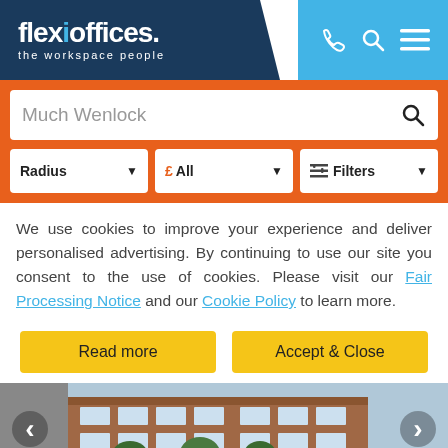[Figure (logo): Flexioffices logo with tagline 'the workspace people' on dark blue background, with phone, search and menu icons on light blue background]
Much Wenlock
Radius ▼
£ All ▼
Filters ▼
We use cookies to improve your experience and deliver personalised advertising. By continuing to use our site you consent to the use of cookies. Please visit our Fair Processing Notice and our Cookie Policy to learn more.
Read more
Accept & Close
[Figure (photo): Exterior photo of a brick office building with cars and trees, with left and right navigation arrows]